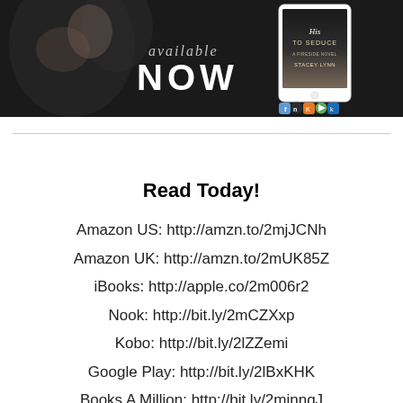[Figure (illustration): Black and white book promotional banner showing a couple in an intimate pose with text 'available NOW' in the center and a book cover for 'His to Seduce - A Fireside Novel by Stacey Lynn' displayed on a phone/tablet mockup on the right, with store icons below]
Read Today!
Amazon US: http://amzn.to/2mjJCNh
Amazon UK: http://amzn.to/2mUK85Z
iBooks: http://apple.co/2m006r2
Nook: http://bit.ly/2mCZXxp
Kobo: http://bit.ly/2lZZemi
Google Play: http://bit.ly/2lBxKHK
Books A Million: http://bit.ly/2mjnnqJ